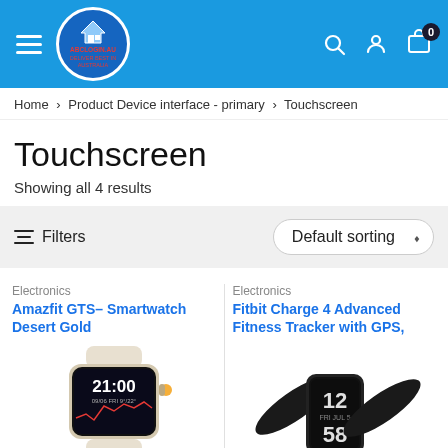ABCLOGIN.AU — Deliver best in Australia
Home > Product Device interface - primary > Touchscreen
Touchscreen
Showing all 4 results
Filters   Default sorting
Electronics
Amazfit GTS– Smartwatch Desert Gold
[Figure (photo): Amazfit GTS smartwatch in desert gold color showing 21:00 on screen with fitness metrics]
Electronics
Fitbit Charge 4 Advanced Fitness Tracker with GPS,
[Figure (photo): Fitbit Charge 4 fitness tracker in black showing time 12:58 on screen]